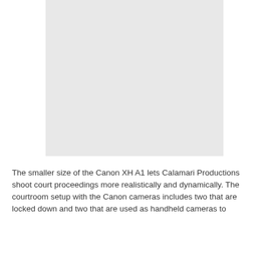[Figure (photo): A large light gray placeholder image occupying the upper portion of the page]
The smaller size of the Canon XH A1 lets Calamari Productions shoot court proceedings more realistically and dynamically. The courtroom setup with the Canon cameras includes two that are locked down and two that are used as handheld cameras to